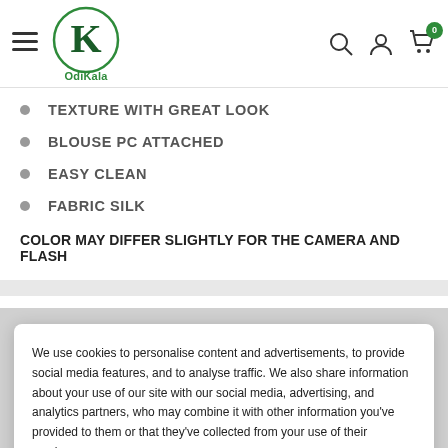[Figure (logo): OdiKala logo with hamburger menu, search icon, user icon, and cart icon with badge showing 0]
TEXTURE WITH GREAT LOOK
BLOUSE PC ATTACHED
EASY CLEAN
FABRIC SILK
COLOR MAY DIFFER SLIGHTLY FOR THE CAMERA AND FLASH
We use cookies to personalise content and advertisements, to provide social media features, and to analyse traffic. We also share information about your use of our site with our social media, advertising, and analytics partners, who may combine it with other information you've provided to them or that they've collected from your use of their services.